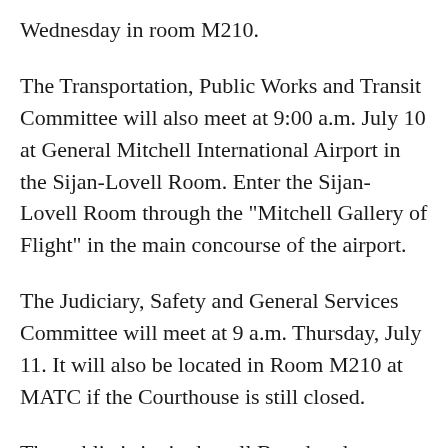Wednesday in room M210.
The Transportation, Public Works and Transit Committee will also meet at 9:00 a.m. July 10 at General Mitchell International Airport in the Sijan-Lovell Room. Enter the Sijan-Lovell Room through the "Mitchell Gallery of Flight" in the main concourse of the airport.
The Judiciary, Safety and General Services Committee will meet at 9 a.m. Thursday, July 11. It will also be located in Room M210 at MATC if the Courthouse is still closed.
The public is invited to all Board and committee meetings at any location. The County Board meeting will be streamed live on the MATC web site. You can